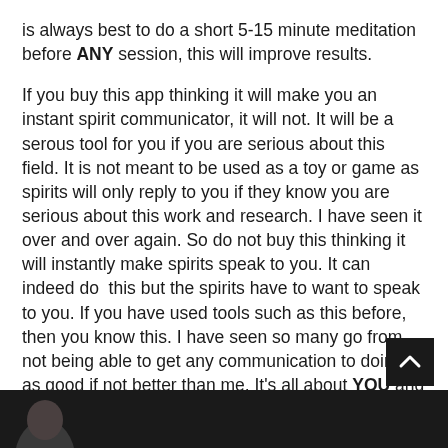is always best to do a short 5-15 minute meditation before ANY session, this will improve results.
If you buy this app thinking it will make you an instant spirit communicator, it will not. It will be a serous tool for you if you are serious about this field. It is not meant to be used as a toy or game as spirits will only reply to you if they know you are serious about this work and research. I have seen it over and over again. So do not buy this thinking it will instantly make spirits speak to you. It can indeed do  this but the spirits have to want to speak to you. If you have used tools such as this before, then you know this. I have seen so many go from not being able to get any communication to doing as good if not better than me. It's all about YOU and your dedication to the
[Figure (photo): Dark black-and-white photo strip at the bottom of the page showing a partial face/figure]